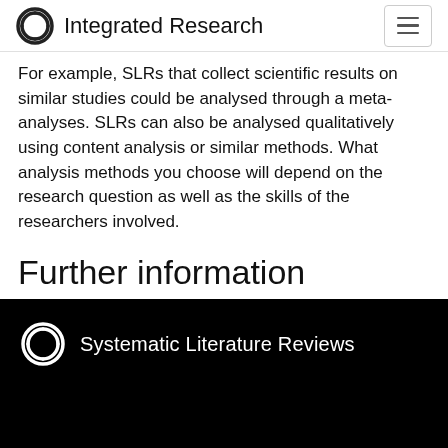Integrated Research
For example, SLRs that collect scientific results on similar studies could be analysed through a meta-analyses. SLRs can also be analysed qualitatively using content analysis or similar methods. What analysis methods you choose will depend on the research question as well as the skills of the researchers involved.
Further information
[Figure (screenshot): Video thumbnail with black background showing Integrated Research logo and text 'Systematic Literature Reviews']